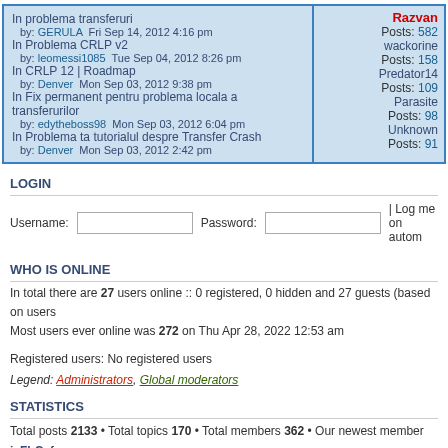| Topic | User/Posts |
| --- | --- |
| In problema transferuri
by: GERULA  Fri Sep 14, 2012 4:16 pm | Razvan
Posts: 582 |
| In Problema CRLP v2
by: leomessi1085  Tue Sep 04, 2012 8:26 pm | wackorine
Posts: 158 |
| In CRLP 12 | Roadmap
by: Denver  Mon Sep 03, 2012 9:38 pm | Predator14
Posts: 109 |
| In Fix permanent pentru problema locala a transferurilor
by: edytheboss98  Mon Sep 03, 2012 6:04 pm | Parasite
Posts: 98 |
| In Problema ta tutorialul despre Transfer Crash
by: Denver  Mon Sep 03, 2012 2:42 pm | Unknown
Posts: 91 |
LOGIN
Username:  Password:  | Log me on autom
WHO IS ONLINE
In total there are 27 users online :: 0 registered, 0 hidden and 27 guests (based on users
Most users ever online was 272 on Thu Apr 28, 2022 12:53 am
Registered users: No registered users
Legend: Administrators, Global moderators
STATISTICS
Total posts 2133 • Total topics 170 • Total members 362 • Our newest member icFbCafa
Board index   The team • Delete all
Powered by phpBB® Forum Software © phpBB Gr